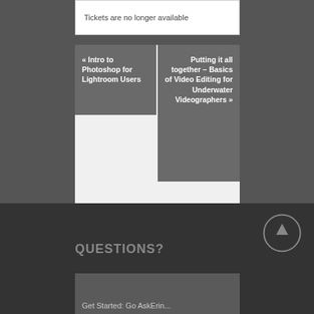Tickets are no longer available
« Intro to Photoshop for Lightroom Users
Putting it all together – Basics of Video Editing for Underwater Videographers »
QUESTIONS?
Get Started: Go AskErin...